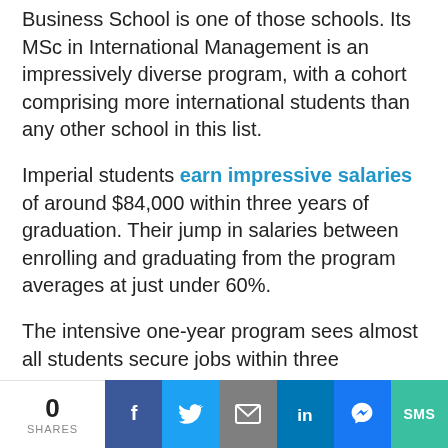Business School is one of those schools. Its MSc in International Management is an impressively diverse program, with a cohort comprising more international students than any other school in this list.
Imperial students earn impressive salaries of around $84,000 within three years of graduation. Their jump in salaries between enrolling and graduating from the program averages at just under 60%.
The intensive one-year program sees almost all students secure jobs within three
0 SHARES | Facebook | Twitter | Email | LinkedIn | Messenger | SMS